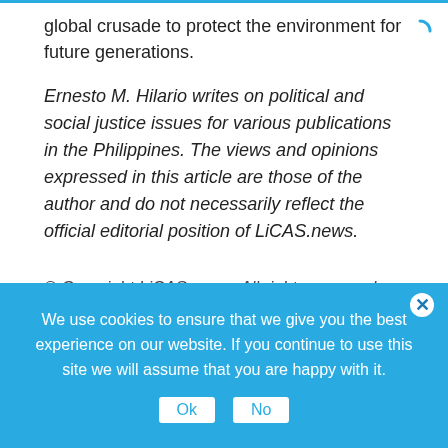global crusade to protect the environment for future generations.
Ernesto M. Hilario writes on political and social justice issues for various publications in the Philippines. The views and opinions expressed in this article are those of the author and do not necessarily reflect the official editorial position of LiCAS.news.
© Copyright LiCAS.news. All rights reserved. Republication of this article without express permission from LiCAS.news is strictly prohibited. For republication rights, please
We use cookies to ensure that we give you the best experience on our website. If you continue to use this site we will assume that you are happy with it.
Ok   No